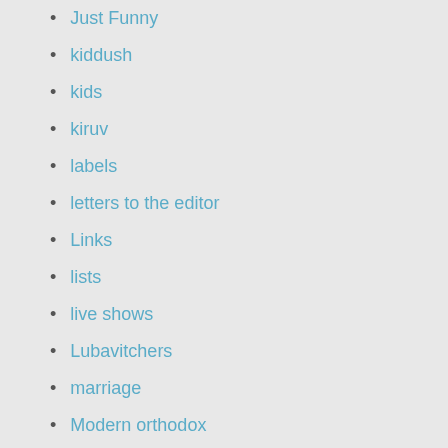Just Funny
kiddush
kids
kiruv
labels
letters to the editor
Links
lists
live shows
Lubavitchers
marriage
Modern orthodox
Monsey
Moshiach
music
my life
New York Metro
news
Non-Jewish